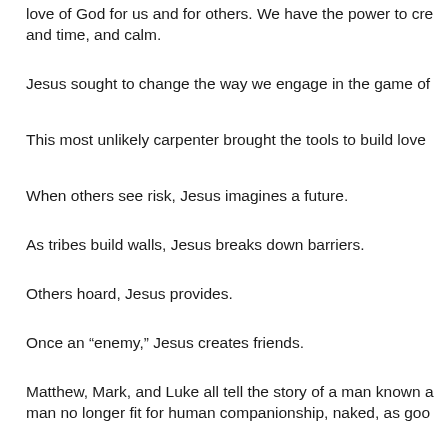love of God for us and for others. We have the power to cre and time, and calm.
Jesus sought to change the way we engage in the game of
This most unlikely carpenter brought the tools to build love
When others see risk, Jesus imagines a future.
As tribes build walls, Jesus breaks down barriers.
Others hoard, Jesus provides.
Once an “enemy,” Jesus creates friends.
Matthew, Mark, and Luke all tell the story of a man known a man no longer fit for human companionship, naked, as goo
Jesus’ desire to love this exiled man…and to teach us what his followers to sail across a turbulent sea and into foreign l